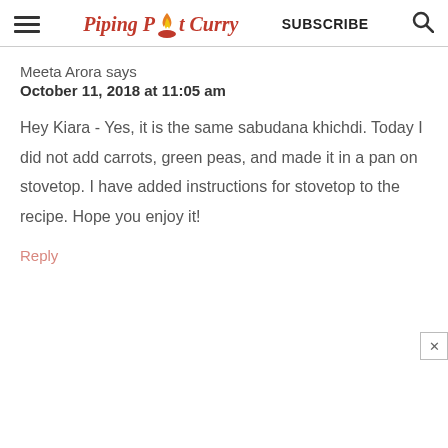Piping Pot Curry | SUBSCRIBE
Meeta Arora says
October 11, 2018 at 11:05 am
Hey Kiara - Yes, it is the same sabudana khichdi. Today I did not add carrots, green peas, and made it in a pan on stovetop. I have added instructions for stovetop to the recipe. Hope you enjoy it!
Reply